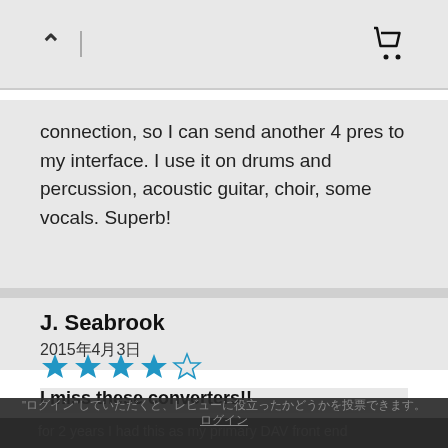connection, so I can send another 4 pres to my interface. I use it on drums and percussion, acoustic guitar, choir, some vocals. Superb!
J. Seabrook
2015年4月3日
[Figure (other): 4 out of 5 stars rating]
I miss these converters!!
for 2 years I had this as my primary DAV front end
"ログイン"していただくと、レビューに役立ったかどうかを投票できます。ログイン
else I used prior & just can buy anything since this (let API, Antelope). This means I am clear on this matter anything. I would not contemplate trading them for anything often did. I didn't find any sound difference between the s